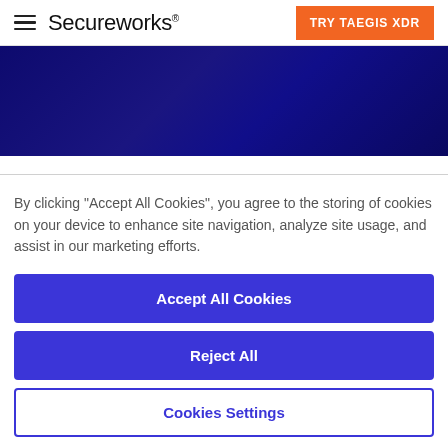Secureworks | TRY TAEGIS XDR
[Figure (illustration): Dark navy/indigo gradient hero banner background]
By clicking “Accept All Cookies”, you agree to the storing of cookies on your device to enhance site navigation, analyze site usage, and assist in our marketing efforts.
Accept All Cookies
Reject All
Cookies Settings